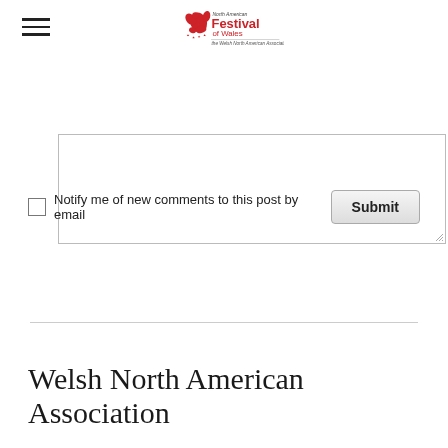North American Festival of Wales — the Welsh North American Association
[Figure (other): Text input textarea with resize handle]
Notify me of new comments to this post by email
Submit
Welsh North American Association